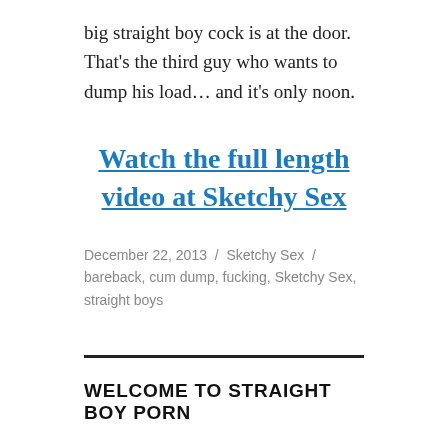big straight boy cock is at the door. That's the third guy who wants to dump his load… and it's only noon.
Watch the full length video at Sketchy Sex
December 22, 2013 / Sketchy Sex / bareback, cum dump, fucking, Sketchy Sex, straight boys
WELCOME TO STRAIGHT BOY PORN
Welcome to Straight Boy Porn. This is the place where I share my interest in straight boys with